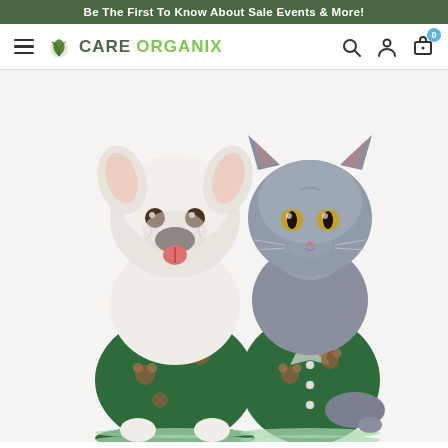Be The First To Know About Sale Events & More!
[Figure (logo): Care Organix logo with green leaf icon and text]
[Figure (photo): A white French Bulldog and a grey British Shorthair cat both wearing matching dark green Christmas sweaters/cardigans with bear patterns. The dog is on the left with tongue out, the cat is on the right wearing a collar.]